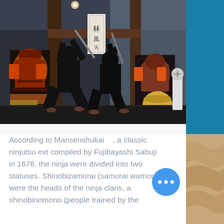[Figure (photo): Two performers dressed in black ninja costumes in fighting stances with swords raised, inside a museum or exhibition hall with samurai armor displays and wooden pillars in the background.]
According to Mansenshukai    , a classic ninjutsu ext compiled by Fujibayashi Sabuji        in 1676, the ninja were divided into two statuses. Shinobizamurai (samurai warriors) were the heads of the ninja clans, a shinobinomono (people trained by the